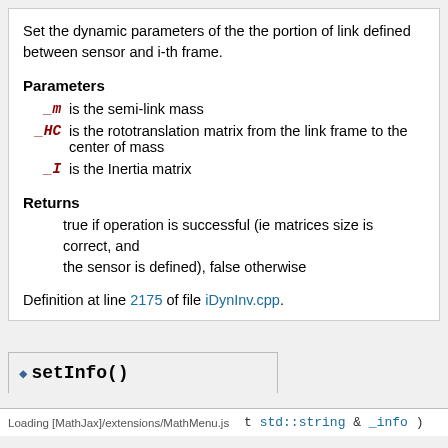Set the dynamic parameters of the the portion of link defined between sensor and i-th frame.
Parameters
_m  is the semi-link mass
_HC  is the rototranslation matrix from the link frame to the center of mass
_I  is the Inertia matrix
Returns
true if operation is successful (ie matrices size is correct, and the sensor is defined), false otherwise
Definition at line 2175 of file iDynInv.cpp.
◆ setInfo()
t std::string & _info )